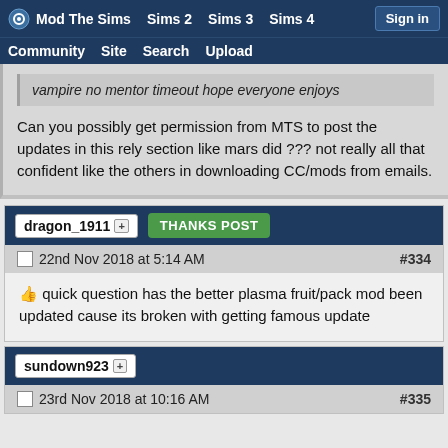Mod The Sims | Sims 2 | Sims 3 | Sims 4 | Sign in | Community | Site | Search | Upload
vampire no mentor timeout hope everyone enjoys
Can you possibly get permission from MTS to post the updates in this rely section like mars did ??? not really all that confident like the others in downloading CC/mods from emails.
dragon_1911 [+] THANKS POST
22nd Nov 2018 at 5:14 AM #334
quick question has the better plasma fruit/pack mod been updated cause its broken with getting famous update
sundown923 [+]
23rd Nov 2018 at 10:16 AM #335